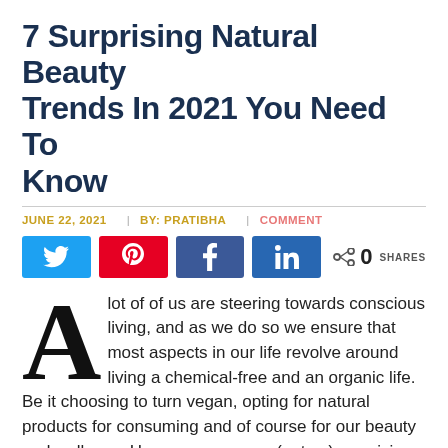7 Surprising Natural Beauty Trends In 2021 You Need To Know
JUNE 22, 2021 | BY: PRATIBHA | COMMENT
[Figure (other): Social sharing buttons: Twitter, Pinterest, Facebook, LinkedIn, and share count showing 0 SHARES]
A lot of of us are steering towards conscious living, and as we do so we ensure that most aspects in our life revolve around living a chemical-free and an organic life. Be it choosing to turn vegan, opting for natural products for consuming and of course for our beauty and wellness. Here are are some (not so) surprising